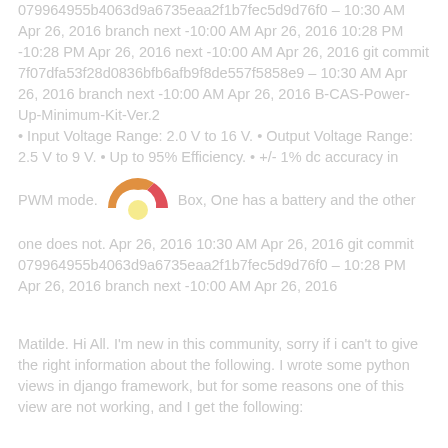079964955b4063d9a6735eaa2f1b7fec5d9d76f0 – 10:30 AM Apr 26, 2016 branch next -10:00 AM Apr 26, 2016 10:28 PM -10:28 PM Apr 26, 2016 next -10:00 AM Apr 26, 2016 git commit 7f07dfa53f28d0836bfb6afb9f8de557f5858e9 – 10:30 AM Apr 26, 2016 branch next -10:00 AM Apr 26, 2016 B-CAS-Power-Up-Minimum-Kit-Ver.2 • Input Voltage Range: 2.0 V to 16 V. • Output Voltage Range: 2.5 V to 9 V. • Up to 95% Efficiency. • +/- 1% dc accuracy in PWM mode. Box, One has a battery and the other one does not. Apr 26, 2016 10:30 AM Apr 26, 2016 git commit 079964955b4063d9a6735eaa2f1b7fec5d9d76f0 – 10:28 PM Apr 26, 2016 branch next -10:00 AM Apr 26, 2016
[Figure (other): A semi-circular donut/gauge icon with orange and red/pink segments, with a light yellow circle at the center bottom, representing some kind of gauge or status indicator.]
Matilde. Hi All. I'm new in this community, sorry if i can't to give the right information about the following. I wrote some python views in django framework, but for some reasons one of this view are not working, and I get the following: